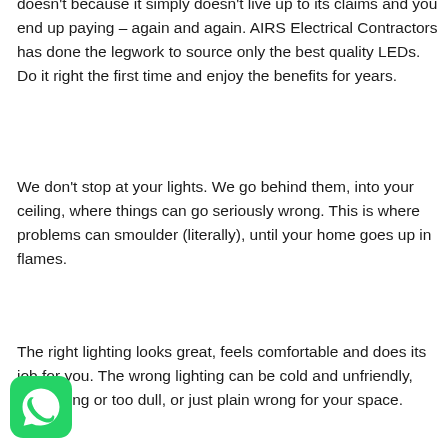doesn't because it simply doesn't live up to its claims and you end up paying – again and again. AIRS Electrical Contractors has done the legwork to source only the best quality LEDs. Do it right the first time and enjoy the benefits for years.
We don't stop at your lights. We go behind them, into your ceiling, where things can go seriously wrong. This is where problems can smoulder (literally), until your home goes up in flames.
The right lighting looks great, feels comfortable and does its job for you. The wrong lighting can be cold and unfriendly, too glaring or too dull, or just plain wrong for your space.
[Figure (logo): WhatsApp green rounded square icon with white phone/chat bubble symbol]